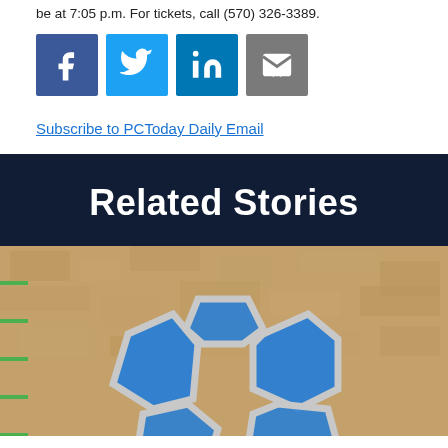be at 7:05 p.m. For tickets, call (570) 326-3389.
[Figure (other): Social media sharing icons: Facebook (blue), Twitter (light blue), LinkedIn (dark blue), Email (gray)]
Subscribe to PCToday Daily Email
Related Stories
[Figure (photo): Photo of a blue and gray sports logo/emblem on a brown cork or dirt textured background, with green indicator bars on the left side]